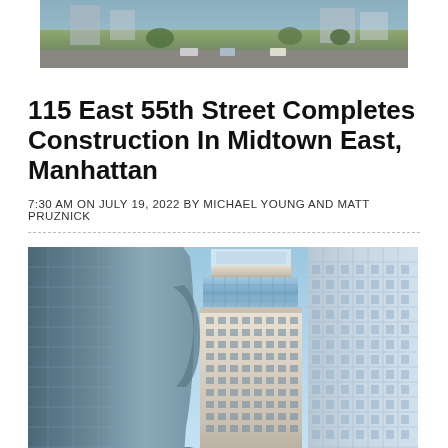[Figure (photo): Aerial or street-level photo of a neighborhood, partially visible at the top of the page (cropped)]
115 East 55th Street Completes Construction In Midtown East, Manhattan
7:30 AM ON JULY 19, 2022 BY MICHAEL YOUNG AND MATT PRUZNICK
[Figure (photo): Architectural rendering of 115 East 55th Street, a mixed-use tower in Midtown East, Manhattan, shown among neighboring skyscrapers including a curved glass tower to the left and a grid-facade building to the right.]